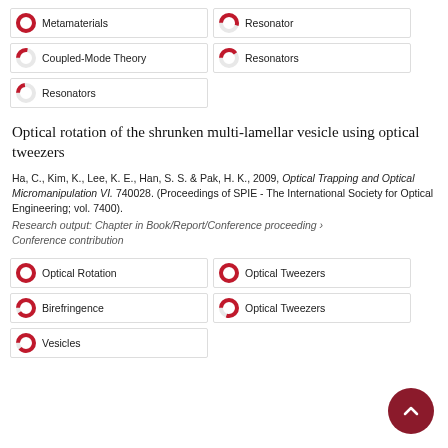Metamaterials
Resonator
Coupled-Mode Theory
Resonators
Resonators
Optical rotation of the shrunken multi-lamellar vesicle using optical tweezers
Ha, C., Kim, K., Lee, K. E., Han, S. S. & Pak, H. K., 2009, Optical Trapping and Optical Micromanipulation VI. 740028. (Proceedings of SPIE - The International Society for Optical Engineering; vol. 7400).
Research output: Chapter in Book/Report/Conference proceeding › Conference contribution
Optical Rotation
Optical Tweezers
Birefringence
Optical Tweezers
Vesicles